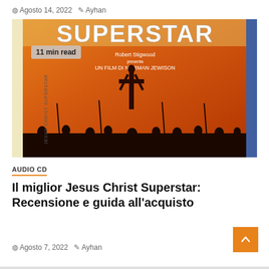Agosto 14, 2022  Ayhan
[Figure (photo): Movie poster for Jesus Christ Superstar showing a crucifixion silhouette against an orange background. Title 'SUPERSTAR' at top in large white letters, with 'Robert Stigwood presents UN FILM DI NORMAN JEWISON' below. A vertical strip on the left side reads 'JESUS CHRIST SUPERSTAR'. Blue strip on right edge. Badge: '11 min read'.]
AUDIO CD
Il miglior Jesus Christ Superstar: Recensione e guida all'acquisto
Agosto 7, 2022  Ayhan